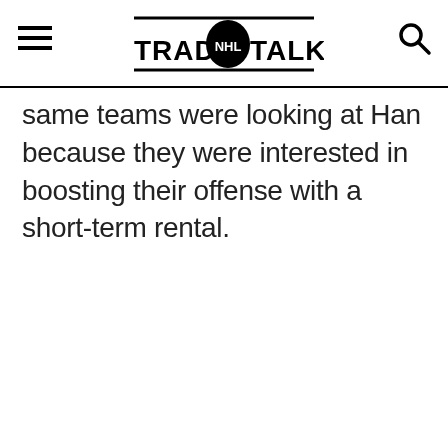TRADE NHL TALK
same teams were looking at Han because they were interested in boosting their offense with a short-term rental.